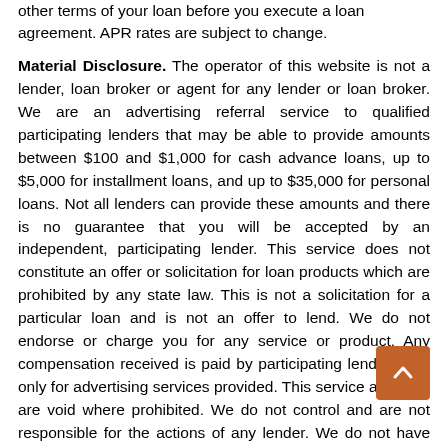other terms of your loan before you execute a loan agreement. APR rates are subject to change.
Material Disclosure. The operator of this website is not a lender, loan broker or agent for any lender or loan broker. We are an advertising referral service to qualified participating lenders that may be able to provide amounts between $100 and $1,000 for cash advance loans, up to $5,000 for installment loans, and up to $35,000 for personal loans. Not all lenders can provide these amounts and there is no guarantee that you will be accepted by an independent, participating lender. This service does not constitute an offer or solicitation for loan products which are prohibited by any state law. This is not a solicitation for a particular loan and is not an offer to lend. We do not endorse or charge you for any service or product. Any compensation received is paid by participating lenders and only for advertising services provided. This service and offer are void where prohibited. We do not control and are not responsible for the actions of any lender. We do not have access to the full terms of your loan, including APR. For details, questions or concerns regarding your loan please contact your lender directly. Only your lender can provide you with information about your specific loan terms, their current rates and charges, renewal, payments and the implications for non-payment or skipped payments. The registration information